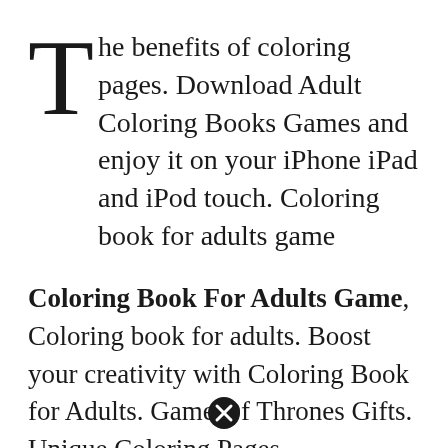The benefits of coloring pages. Download Adult Coloring Books Games and enjoy it on your iPhone iPad and iPod touch. Coloring book for adults game
Coloring Book For Adults Game, Coloring book for adults. Boost your creativity with Coloring Book for Adults. Game Of Thrones Gifts. Unique Coloring Pages.